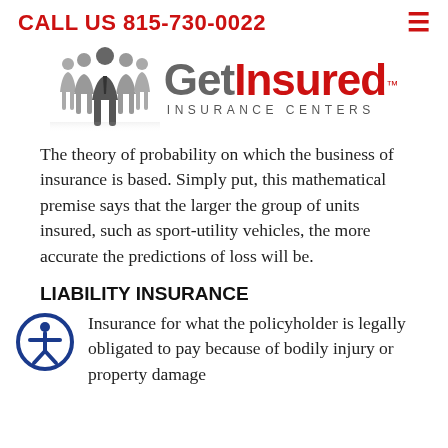CALL US 815-730-0022
[Figure (logo): Get Insured Insurance Centers logo with silhouetted business people group on the left and company name on the right]
The theory of probability on which the business of insurance is based. Simply put, this mathematical premise says that the larger the group of units insured, such as sport-utility vehicles, the more accurate the predictions of loss will be.
LIABILITY INSURANCE
Insurance for what the policyholder is legally obligated to pay because of bodily injury or property damage